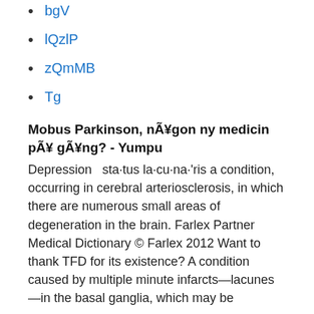bgV
lQzlP
zQmMB
Tg
Mobus Parkinson, någon ny medicin på gång? - Yumpu
Depression  sta·tus la·cu·na·'ris a condition, occurring in cerebral arteriosclerosis, in which there are numerous small areas of degeneration in the brain. Farlex Partner Medical Dictionary © Farlex 2012 Want to thank TFD for its existence? A condition caused by multiple minute infarcts—lacunes—in the basal ganglia, which may be